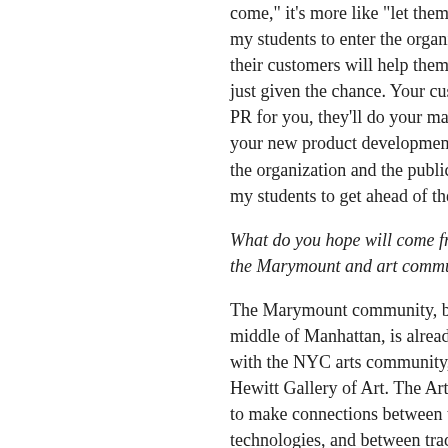come," it's more like "let them come and my students to enter the organizational w their customers will help them shape the just given the chance. Your customers (o PR for you, they'll do your market resear your new product development for you. T the organization and the public is coming my students to get ahead of the curve.
What do you hope will come from this pr the Marymount and art community are co
The Marymount community, by virtue of i middle of Manhattan, is already imbricate with the NYC arts community, including t Hewitt Gallery of Art. The Art Mobs proje to make connections between the arts a technologies, and between traditional org Culture.
Technorati Tags: ArtMobs | Podcasting | SmartMobs | OrgComm | AudioGuides |
May 11, 2005 | Permalink